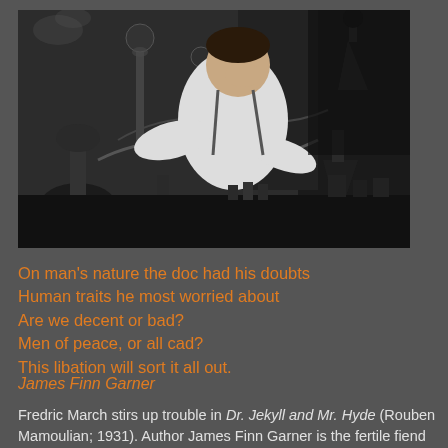[Figure (photo): Black and white still from a film showing a man in a white shirt leaning over laboratory glassware and equipment, working intently.]
On man's nature the doc had his doubts
Human traits he most worried about
Are we decent or bad?
Men of peace, or all cad?
This libation will sort it all out.
James Finn Garner
Fredric March stirs up trouble in Dr. Jekyll and Mr. Hyde (Rouben Mamoulian; 1931). Author James Finn Garner is the fertile fiend behind the Rex Koko, Clown Detective